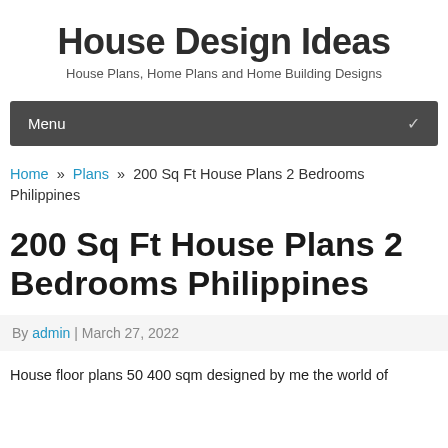House Design Ideas
House Plans, Home Plans and Home Building Designs
Menu
Home » Plans » 200 Sq Ft House Plans 2 Bedrooms Philippines
200 Sq Ft House Plans 2 Bedrooms Philippines
By admin | March 27, 2022
House floor plans 50 400 sqm designed by me the world of